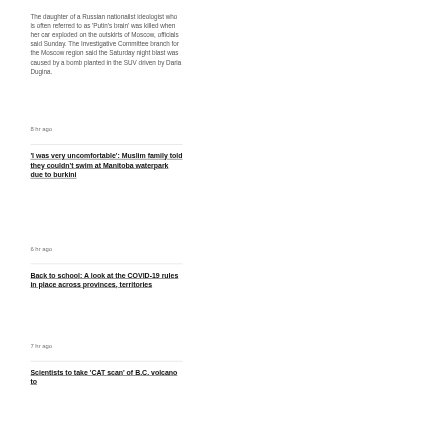The daughter of a Russian nationalist ideologist who is often referred to as 'Putin's brain' was killed when her car exploded on the outskirts of Moscow, officials said Sunday. The Investigative Committee branch for the Moscow region said the Saturday night blast was caused by a bomb planted in the SUV driven by Daria Dugina.
8 hr ago
'I was very uncomfortable': Muslim family told they couldn't swim at Manitoba waterpark due to burkini
6 hr ago
Back to school: A look at the COVID-19 rules in place across provinces, territories
7 hr ago
Scientists to take 'CAT scan' of B.C. volcano to